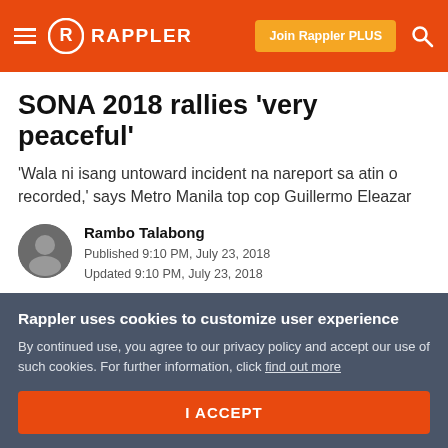Rappler — Join Rappler PLUS
SONA 2018 rallies 'very peaceful'
'Wala ni isang untoward incident na nareport sa atin o recorded,' says Metro Manila top cop Guillermo Eleazar
Rambo Talabong
Published 9:10 PM, July 23, 2018
Updated 9:10 PM, July 23, 2018
Facebook  Twitter  Reddit  Email
Rappler uses cookies to customize user experience
By continued use, you agree to our privacy policy and accept our use of such cookies. For further information, click find out more
I ACCEPT